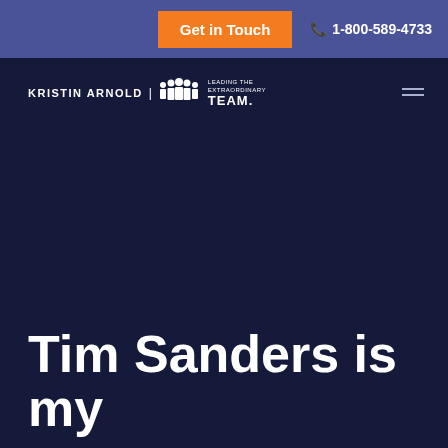Get in Touch  1-800-589-4733
[Figure (logo): Kristin Arnold | Leading the Extraordinary Team logo with silhouette figures]
Tim Sanders is my